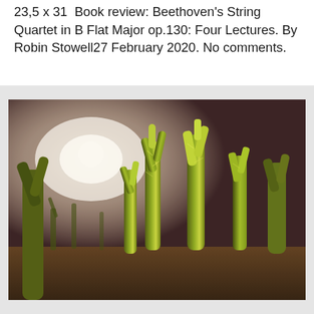23,5 x 31  Book review: Beethoven's String Quartet in B Flat Major op.130: Four Lectures. By Robin Stowell27 February 2020. No comments.
[Figure (photo): Photograph of cholla cactus plants in a desert setting, backlit with warm sunlight creating a glowing effect. The cacti are green-yellow with spines, filling the frame against a dark background with bright sunlight flare in the upper left.]